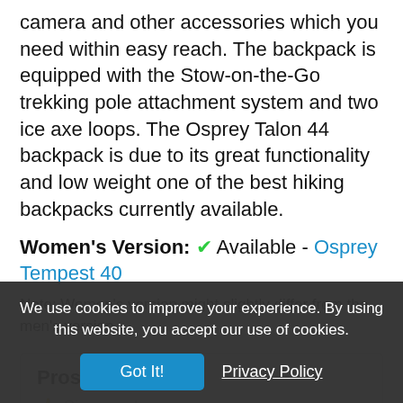camera and other accessories which you need within easy reach. The backpack is equipped with the Stow-on-the-Go trekking pole attachment system and two ice axe loops. The Osprey Talon 44 backpack is due to its great functionality and low weight one of the best hiking backpacks currently available.
Women's Version: ✔ Available - Osprey Tempest 40
Note: Women's version might slightly differ from the men's version.
Pros:
Cookie banner: We use cookies to improve your experience. By using this website, you accept our use of cookies. | Got It! | Privacy Policy